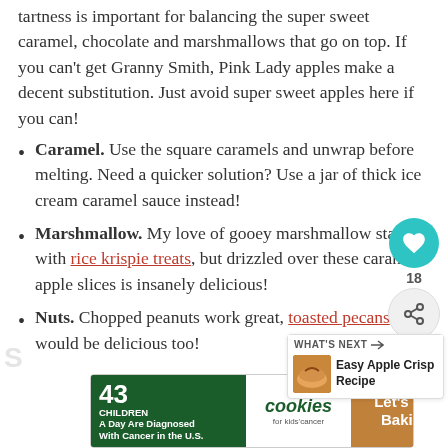tartness is important for balancing the super sweet caramel, chocolate and marshmallows that go on top. If you can't get Granny Smith, Pink Lady apples make a decent substitution. Just avoid super sweet apples here if you can!
Caramel. Use the square caramels and unwrap before melting. Need a quicker solution? Use a jar of thick ice cream caramel sauce instead!
Marshmallow. My love of gooey marshmallow started with rice krispie treats, but drizzled over these caramel apple slices is insanely delicious!
Nuts. Chopped peanuts work great, toasted pecans would be delicious too!
[Figure (other): Advertisement banner: 43 CHILDREN A Day Are Diagnosed With Cancer in the U.S. — cookies for kids cancer — Let's Get Baking]
[Figure (other): Social sharing overlay with heart (teal) and share icons, count 18]
[Figure (other): What's Next box showing Easy Apple Crisp Recipe]